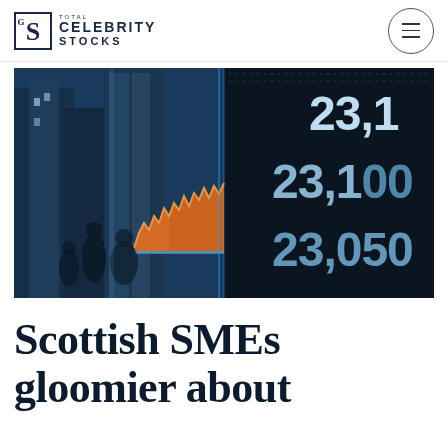CELEBRITY STOCKS
[Figure (photo): Stock market LED display board showing numbers 23,1 and 23,050 with an orange financial chart overlay; blurred city street with pedestrians in background]
Scottish SMEs gloomier about